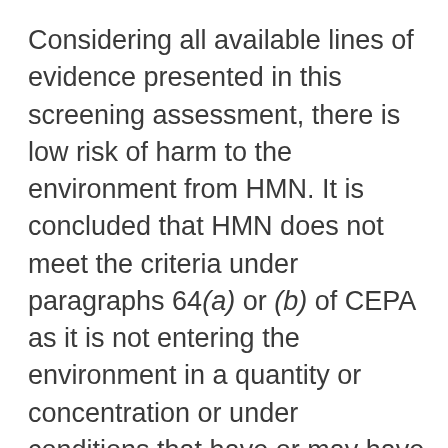Considering all available lines of evidence presented in this screening assessment, there is low risk of harm to the environment from HMN. It is concluded that HMN does not meet the criteria under paragraphs 64(a) or (b) of CEPA as it is not entering the environment in a quantity or concentration or under conditions that have or may have an immediate or long-term harmful effect on the environment or its biological diversity or that constitute or may constitute a danger to the environment on which life depends.
HMN is considered to be of low human